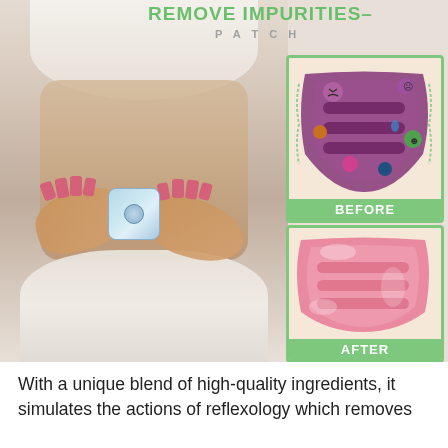[Figure (photo): Promotional health product image. Left side: woman's torso in white sports bra and underwear holding hands in heart shape over belly with a square patch applied to navel area. Right side: two illustrated diagrams labeled BEFORE (unhealthy dark purple intestines with cartoon germs/bacteria) and AFTER (clean pink healthy intestines). Top text reads REMOVE IMPURITIES - PATCH in green.]
With a unique blend of high-quality ingredients, it simulates the actions of reflexology which removes